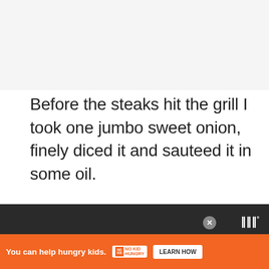Before the steaks hit the grill I took one jumbo sweet onion, finely diced it and sauteed it in some oil.
[Figure (photo): A black frying pan on a stovetop with diced onions being sautéed, and a wooden spatula resting in the pan. Various UI overlays visible: heart icon button (blue circle), count badge showing '7', share button, and a 'WHAT'S NEXT' card showing 'Ribeye vs. Porterhouse...']
You can help hungry kids. NO KID HUNGRY LEARN HOW